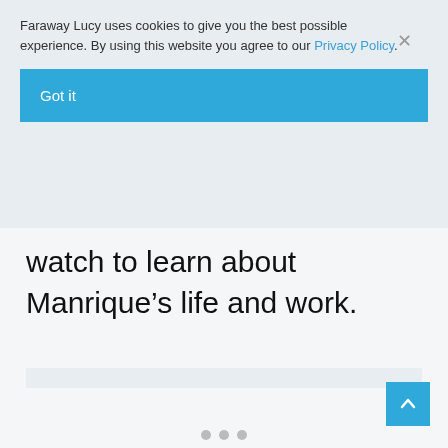Faraway Lucy uses cookies to give you the best possible experience. By using this website you agree to our Privacy Policy.
Got it
watch to learn about Manrique’s life and work.
[Figure (other): Scroll to top arrow button (blue square with upward chevron)]